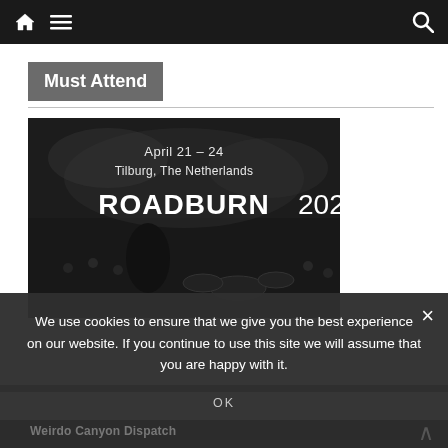Navigation bar with home icon, menu icon, and search icon
Must Attend
[Figure (photo): Black and white concert photo showing crowd and performer on stage with text overlay: April 21 – 24, Tilburg, The Netherlands, ROADBURN 2022]
We use cookies to ensure that we give you the best experience on our website. If you continue to use this site we will assume that you are happy with it.
OK
Weirdo Canyon Dispatch